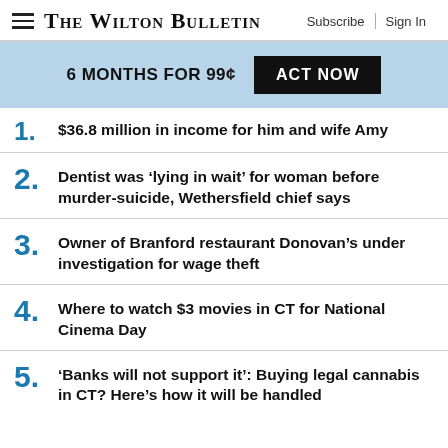The Wilton Bulletin — Subscribe | Sign In
6 MONTHS FOR 99¢  ACT NOW
1. $36.8 million in income for him and wife Amy
2. Dentist was ‘lying in wait’ for woman before murder-suicide, Wethersfield chief says
3. Owner of Branford restaurant Donovan’s under investigation for wage theft
4. Where to watch $3 movies in CT for National Cinema Day
5. ‘Banks will not support it’: Buying legal cannabis in CT? Here’s how it will be handled